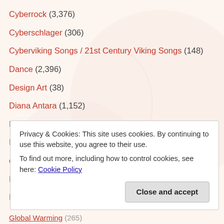Cyberrock (3,376)
Cyberschlager (306)
Cyberviking Songs / 21st Century Viking Songs (148)
Dance (2,396)
Design Art (38)
Diana Antara (1,152)
Digital Art (272)
Downloads (13)
eco-musician (733)
Electronica (3,085)
For children (24)
Privacy & Cookies: This site uses cookies. By continuing to use this website, you agree to their use. To find out more, including how to control cookies, see here: Cookie Policy
Global Warming (265)